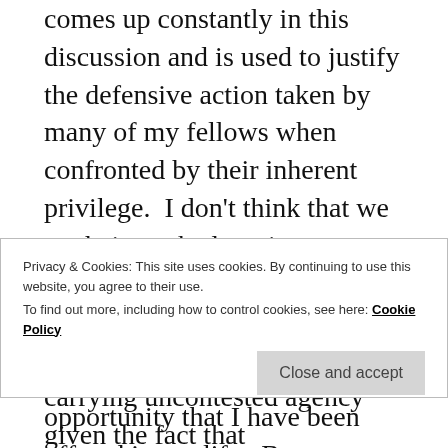comes up constantly in this discussion and is used to justify the defensive action taken by many of my fellows when confronted by their inherent privilege.  I don't think that we are being asked to give up anything other than our time in considering the way that we walk through the world carrying uncontested agency given the fact that contemporary society places such an evident premium on our lives.  I have yet to meetup with anyone racially classified as white, gendered as male, who has had to give up anything or has been denied anything because they were white and
Privacy & Cookies: This site uses cookies. By continuing to use this website, you agree to their use.
To find out more, including how to control cookies, see here: Cookie Policy
Close and accept
opportunity that I have been offered in my life.  By